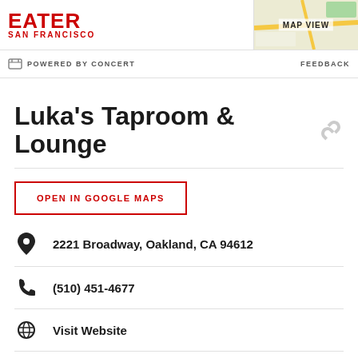EATER SAN FRANCISCO | MAP VIEW
POWERED BY CONCERT | FEEDBACK
Luka's Taproom & Lounge
OPEN IN GOOGLE MAPS
2221 Broadway, Oakland, CA 94612
(510) 451-4677
Visit Website